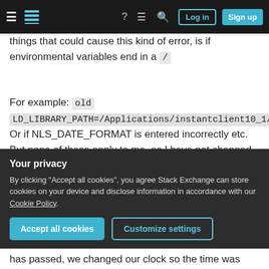Stack Exchange navigation bar with hamburger menu, logo, help, chat, search icons, Log in and Sign up buttons
things that could cause this kind of error, is if environmental variables end in a /
For example: old LD_LIBRARY_PATH=/Applications/instantclient10_1/ Or if NLS_DATE_FORMAT is entered incorrectly etc. But none of these apply to me, as I have not changed anything. I just turned on my computer, and trying to connect to the database, it gives me the error mentioned above. I'm have no idea what to do, since the solutions described are already as should be (those I found).
Your privacy
By clicking "Accept all cookies", you agree Stack Exchange can store cookies on your device and disclose information in accordance with our Cookie Policy.
Accept all cookies   Customize settings
has passed, we changed our clock so the time was